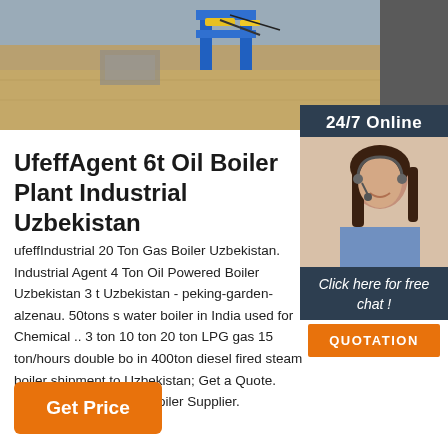[Figure (photo): Industrial factory/warehouse floor with blue frame machinery equipment visible, brownish concrete floor, partial dark right panel]
[Figure (photo): 24/7 Online chat widget showing a smiling woman with headset on dark blue background with 'Click here for free chat!' text and orange QUOTATION button]
UfeffAgent 6t Oil Boiler Plant Industrial Uzbekistan
ufeffIndustrial 20 Ton Gas Boiler Uzbekistan. Industrial Agent 4 Ton Oil Powered Boiler Uzbekistan 3 t Uzbekistan - peking-garden-alzenau. 50tons s water boiler in India used for Chemical .. 3 ton 10 ton 20 ton LPG gas 15 ton/hours double bo in 400ton diesel fired steam boiler shipment to Uzbekistan; Get a Quote. uzbek boiler Industrial Boiler Supplier.
Get Price